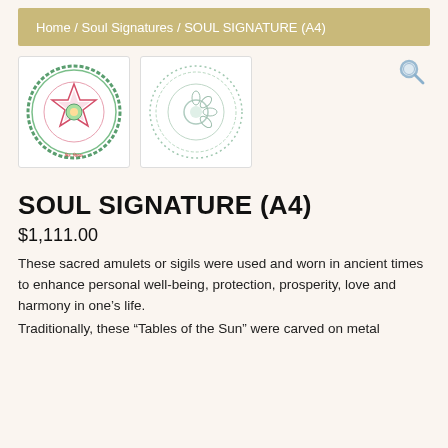Home / Soul Signatures / SOUL SIGNATURE (A4)
[Figure (illustration): Two circular mandala/sigil amulet images side by side. Left image shows a colorful detailed mandala with green border and decorative text below. Right image shows a simpler circular design with fine line border.]
SOUL SIGNATURE (A4)
$1,111.00
These sacred amulets or sigils were used and worn in ancient times to enhance personal well-being, protection, prosperity, love and harmony in one’s life.
Traditionally, these “Tables of the Sun” were carved on metal